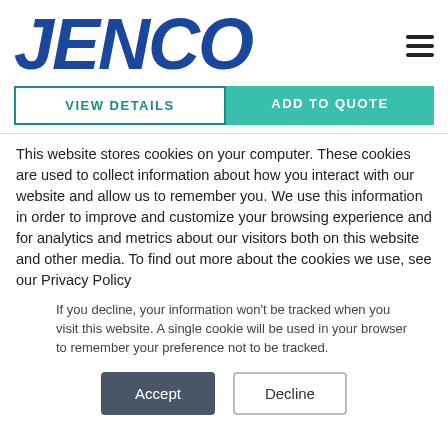[Figure (logo): JENCO company logo in bold dark blue italic font, with hamburger menu icon in top right]
VIEW DETAILS
ADD TO QUOTE
This website stores cookies on your computer. These cookies are used to collect information about how you interact with our website and allow us to remember you. We use this information in order to improve and customize your browsing experience and for analytics and metrics about our visitors both on this website and other media. To find out more about the cookies we use, see our Privacy Policy
If you decline, your information won't be tracked when you visit this website. A single cookie will be used in your browser to remember your preference not to be tracked.
Accept
Decline